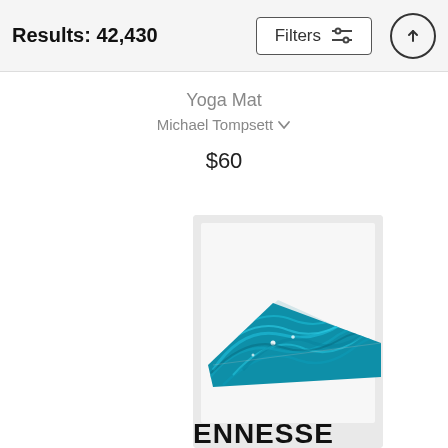Results: 42,430
Yoga Mat
Michael Tompsett
$60
[Figure (photo): A yoga mat product image with a teal/blue marbled Tennessee state shape design and the text TENNESSEE at the bottom, on a light gray background.]